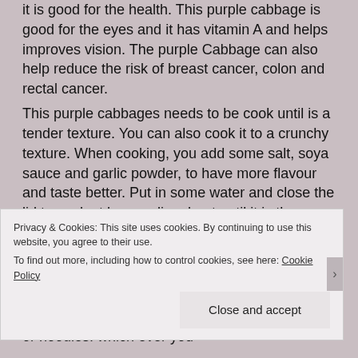it is good for the health. This purple cabbage is good for the eyes and it has vitamin A and helps improves vision. The purple Cabbage can also help reduce the risk of breast cancer, colon and rectal cancer. This purple cabbages needs to be cook until is a tender texture. You can also cook it to a crunchy texture. When cooking, you add some salt, soya sauce and garlic powder, to have more flavour and taste better. Put in some water and close the lid to cook at low medium heat until it is the texture of your desire. How do you know when it is tender, by taking a piece and trying it. Once it is tender that is how you know it is ready. The best combination that goes well with the cabbages would be with rice or noodles. which ever you
Privacy & Cookies: This site uses cookies. By continuing to use this website, you agree to their use. To find out more, including how to control cookies, see here: Cookie Policy
Close and accept